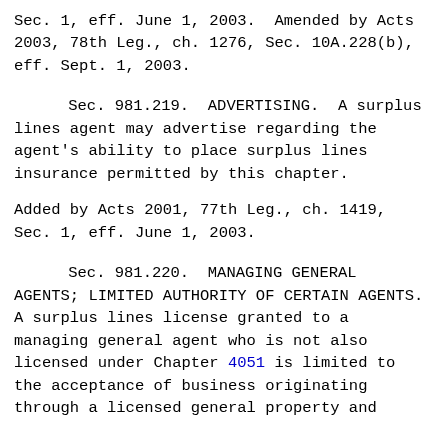Sec. 1, eff. June 1, 2003.  Amended by Acts 2003, 78th Leg., ch. 1276, Sec. 10A.228(b), eff. Sept. 1, 2003.
Sec. 981.219.  ADVERTISING.  A surplus lines agent may advertise regarding the agent's ability to place surplus lines insurance permitted by this chapter.
Added by Acts 2001, 77th Leg., ch. 1419, Sec. 1, eff. June 1, 2003.
Sec. 981.220.  MANAGING GENERAL AGENTS; LIMITED AUTHORITY OF CERTAIN AGENTS. A surplus lines license granted to a managing general agent who is not also licensed under Chapter 4051 is limited to the acceptance of business originating through a licensed general property and